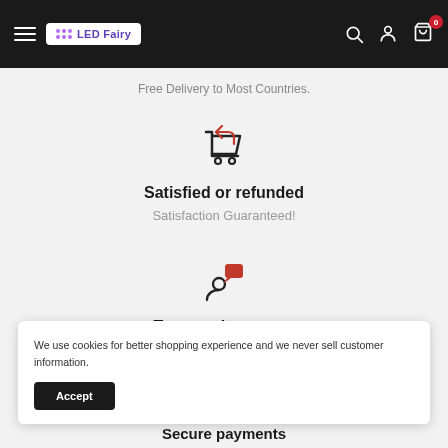LED Fairy — Navigation bar with hamburger menu, logo, search, account, and cart (0 items)
Free Delivery to Most Countries.
[Figure (illustration): Shopping cart with a return/refund arrow icon, line art style]
Satisfied or refunded
Satisfaction Guaranteed!
[Figure (illustration): Person with speech bubble icon (top-notch support), line art style with red speech bubble]
Top-notch support
We use cookies for better shopping experience and we never sell customer information.
Accept
Secure payments